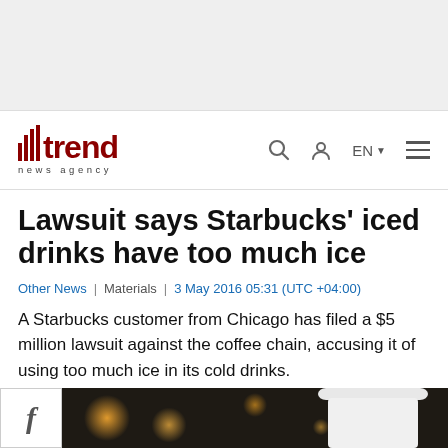[Figure (other): Gray advertisement banner area at top of page]
trend news agency | navigation bar with search, user, EN language selector, and menu icons
Lawsuit says Starbucks' iced drinks have too much ice
Other News | Materials | 3 May 2016 05:31 (UTC +04:00)
A Starbucks customer from Chicago has filed a $5 million lawsuit against the coffee chain, accusing it of using too much ice in its cold drinks.
[Figure (photo): Bottom portion showing Facebook share button box on left and a photo of Starbucks cup with bokeh background on right]